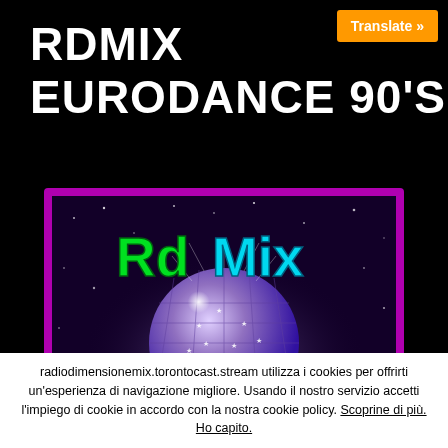Translate »
RDMIX
EURODANCE 90'S
[Figure (logo): RdMix Eurodance 90's logo: colorful text 'RdMix' in green and cyan bubble letters above a disco ball with stars, 'EURODANCE' in red and '90's' visible at bottom, framed by a magenta/pink border on a dark purple starfield background.]
radiodimensionemix.torontocast.stream utilizza i cookies per offrirti un'esperienza di navigazione migliore. Usando il nostro servizio accetti l'impiego di cookie in accordo con la nostra cookie policy. Scoprine di più. Ho capito.